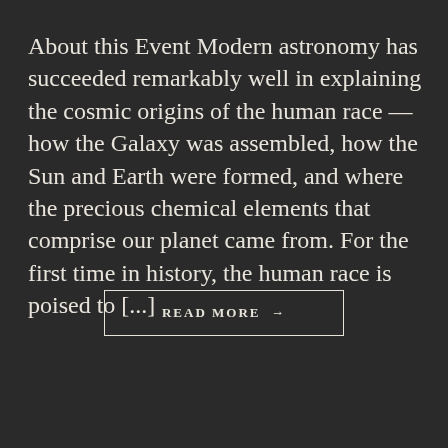About this Event Modern astronomy has succeeded remarkably well in explaining the cosmic origins of the human race — how the Galaxy was assembled, how the Sun and Earth were formed, and where the precious chemical elements that comprise our planet came from. For the first time in history, the human race is poised to [...]
READ MORE →